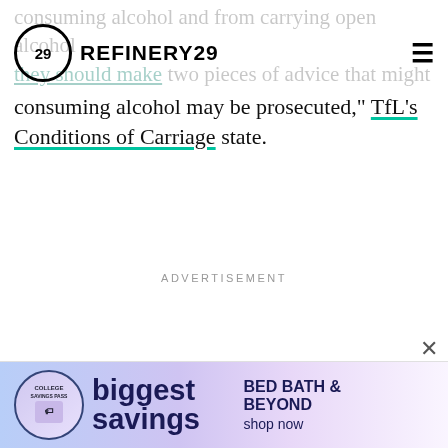REFINERY29
consuming alcohol may be prosecuted," TfL's Conditions of Carriage state.
ADVERTISEMENT
[Figure (screenshot): Bed Bath & Beyond advertisement banner with College Savings Pass badge, 'biggest savings' text, and 'BED BATH & BEYOND shop now' on the right.]